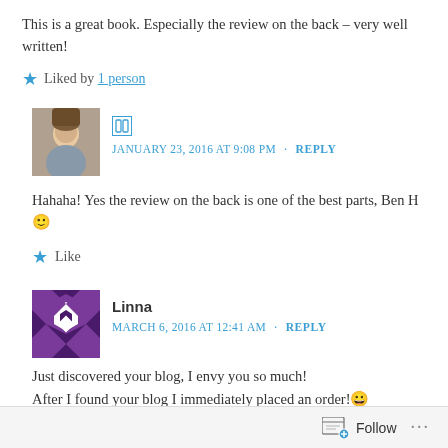This is a great book. Especially the review on the back – very well written!
★ Liked by 1 person
JANUARY 23, 2016 AT 9:08 PM · REPLY
Hahaha! Yes the review on the back is one of the best parts, Ben H 🙂
★ Like
Linna
MARCH 6, 2016 AT 12:41 AM · REPLY
Just discovered your blog, I envy you so much!
After I found your blog I immediately placed an order! 😀